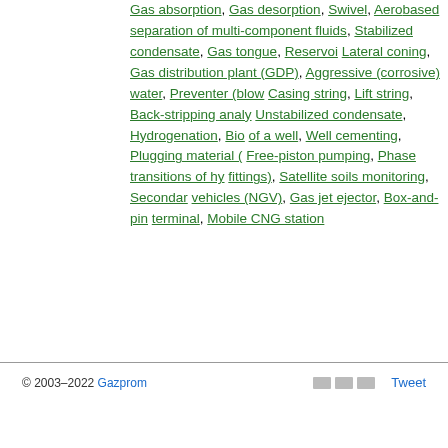Gas absorption, Gas desorption, Swivel, Aerosol-based separation of multi-component fluids, Stabilized condensate, Gas tongue, Reservoir, Lateral coning, Gas distribution plant (GDP), Aggressive (corrosive) water, Preventer (blow...), Casing string, Lift string, Back-stripping analysis, Unstabilized condensate, Hydrogenation, Bio... of a well, Well cementing, Plugging material (...), Free-piston pumping, Phase transitions of hy... fittings), Satellite soils monitoring, Secondary ... vehicles (NGV), Gas jet ejector, Box-and-pin ... terminal, Mobile CNG station
© 2003–2022 Gazprom  Tweet